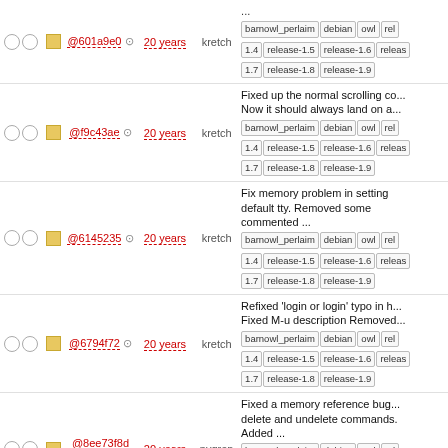| sel | icon | hash | ref | age | author | message/tags |
| --- | --- | --- | --- | --- | --- | --- |
| ○ ○ | □ | @601a9e0 | ⊕ | 20 years | kretch | ...
barnowl_perlaim debian owl rel
1.4 release-1.5 release-1.6 releas
1.7 release-1.8 release-1.9 |
| ○ ○ | □ | @f9c43ae | ⊕ | 20 years | kretch | Fixed up the normal scrolling co... Now it should always land on a...
barnowl_perlaim debian owl rel
1.4 release-1.5 release-1.6 releas
1.7 release-1.8 release-1.9 |
| ○ ○ | □ | @6145235 | ⊕ | 20 years | kretch | Fix memory problem in setting default tty. Removed some commented ...
barnowl_perlaim debian owl rel
1.4 release-1.5 release-1.6 releas
1.7 release-1.8 release-1.9 |
| ○ ○ | □ | @6794f72 | ⊕ | 20 years | kretch | Refixed 'login or login' typo in h... Fixed M-u description Removed...
barnowl_perlaim debian owl rel
1.4 release-1.5 release-1.6 releas
1.7 release-1.8 release-1.9 |
| ○ ○ | □ | @8ee73f8d | ⊕ | 20 years | nygren | Fixed a memory reference bug... delete and undelete commands. Added ...
barnowl_perlaim debian owl rel
1.4 release-1.5 release-1.6 releas
1.7 release-1.8 release-1.9 |
| ○ ○ | □ | @1aee7d9 | ⊕ | 20 years | nygren | * Added RCS Id strings to all fil... 'show keymaps' shows details o...
barnowl_perlaim debian owl rel
1.4 release-1.5 release-1.6 releas
1.7 release-1.8 release-1.9 |
| ● ○ | □ | @7d4fbcd | ⊕ | 20 years | kretch | Initial check in
barnowl_perlaim debian owl rel
1.4 release-1.6 ... |